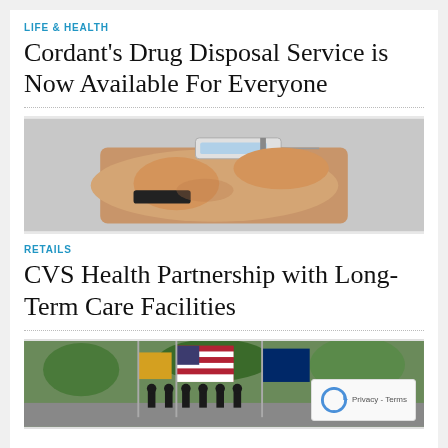LIFE & HEALTH
Cordant's Drug Disposal Service is Now Available For Everyone
[Figure (photo): Close-up photo of hands holding a syringe, administering an injection into a person's arm.]
RETAILS
CVS Health Partnership with Long-Term Care Facilities
[Figure (photo): Photo of people in uniform carrying American and other flags during an outdoor parade or ceremony, with trees in the background.]